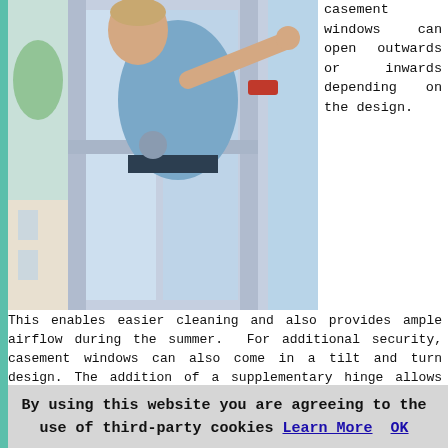[Figure (photo): Worker installing or repairing a casement window, viewed from outside, person leaning over window frame]
casement windows can open outwards or inwards depending on the design.
This enables easier cleaning and also provides ample airflow during the summer. For additional security, casement windows can also come in a tilt and turn design. The addition of a supplementary hinge allows tilt and turn double glazed windows to open to a limited degree. Increased security is the result, because to allow a cool breeze to flow into the room, they can be locked firmly in position when partly open.

To complement a period house in Kinross, there are also available options for double glazing sash windows with a more traditional look. There are single hung models where just one pane can be slid open, and double hung models, where both sashes slide. In times past sash windows were not known for their energy efficiency, but modern double glazing designs have alleviated this problem and today
By using this website you are agreeing to the use of third-party cookies Learn More OK